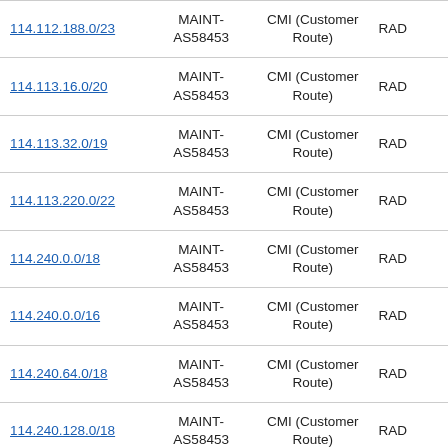|  |  |  |  |
| --- | --- | --- | --- |
| 114.112.188.0/23 | MAINT-AS58453 | CMI (Customer Route) | RAD |
| 114.113.16.0/20 | MAINT-AS58453 | CMI (Customer Route) | RAD |
| 114.113.32.0/19 | MAINT-AS58453 | CMI (Customer Route) | RAD |
| 114.113.220.0/22 | MAINT-AS58453 | CMI (Customer Route) | RAD |
| 114.240.0.0/18 | MAINT-AS58453 | CMI (Customer Route) | RAD |
| 114.240.0.0/16 | MAINT-AS58453 | CMI (Customer Route) | RAD |
| 114.240.64.0/18 | MAINT-AS58453 | CMI (Customer Route) | RAD |
| 114.240.128.0/18 | MAINT-AS58453 | CMI (Customer Route) | RAD |